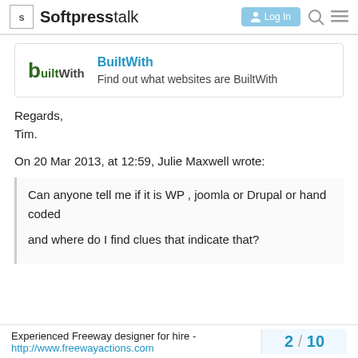Softpresstalk
[Figure (logo): BuiltWith logo with dark green stylized text and tagline 'Find out what websites are BuiltWith']
Regards,
Tim.
On 20 Mar 2013, at 12:59, Julie Maxwell wrote:
Can anyone tell me if it is WP , joomla or Drupal or hand coded

and where do I find clues that indicate that?
Experienced Freeway designer for hire - http://www.freewayactions.com 2 / 10